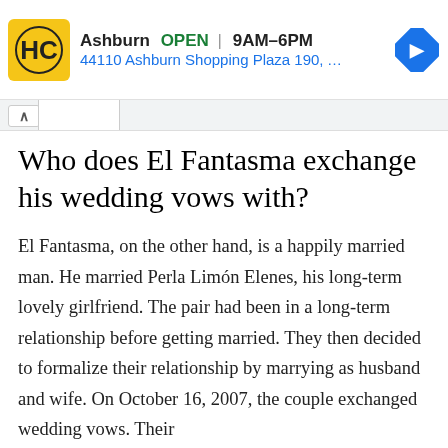[Figure (screenshot): Advertisement banner for a business (HC logo with yellow background) showing 'Ashburn OPEN 9AM–6PM' and address '44110 Ashburn Shopping Plaza 190, A...' with a blue navigation diamond icon on the right. Small arrow and X close controls below.]
Who does El Fantasma exchange his wedding vows with?
El Fantasma, on the other hand, is a happily married man. He married Perla Limón Elenes, his long-term lovely girlfriend. The pair had been in a long-term relationship before getting married. They then decided to formalize their relationship by marrying as husband and wife. On October 16, 2007, the couple exchanged wedding vows. Their